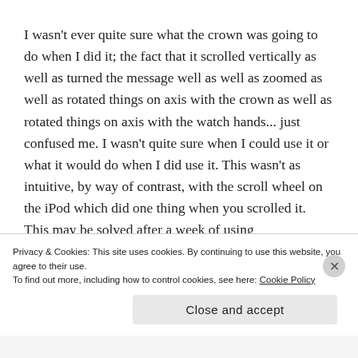I wasn't ever quite sure what the crown was going to do when I did it; the fact that it scrolled vertically as well as turned the message well as well as zoomed as well as rotated things on axis with the crown as well as rotated things on axis with the watch hands... just confused me. I wasn't quite sure when I could use it or what it would do when I did use it. This wasn't as intuitive, by way of contrast, with the scroll wheel on the iPod which did one thing when you scrolled it. This may be solved after a week of using
Privacy & Cookies: This site uses cookies. By continuing to use this website, you agree to their use.
To find out more, including how to control cookies, see here: Cookie Policy
Close and accept